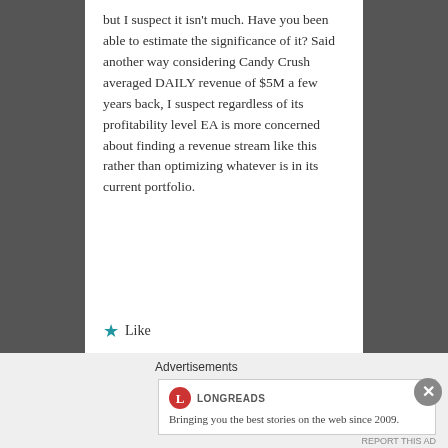but I suspect it isn't much. Have you been able to estimate the significance of it? Said another way considering Candy Crush averaged DAILY revenue of $5M a few years back, I suspect regardless of its profitability level EA is more concerned about finding a revenue stream like this rather than optimizing whatever is in its current portfolio.
★ Like
Advertisements
[Figure (logo): Longreads logo with red circle L and text 'LONGREADS']
Bringing you the best stories on the web since 2009.
REPORT THIS AD